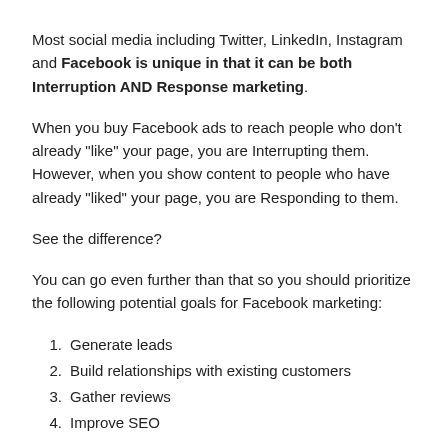Most social media including Twitter, LinkedIn, Instagram and Facebook is unique in that it can be both Interruption AND Response marketing.
When you buy Facebook ads to reach people who don’t already “like” your page, you are Interrupting them. However, when you show content to people who have already “liked” your page, you are Responding to them.
See the difference?
You can go even further than that so you should prioritize the following potential goals for Facebook marketing:
Generate leads
Build relationships with existing customers
Gather reviews
Improve SEO